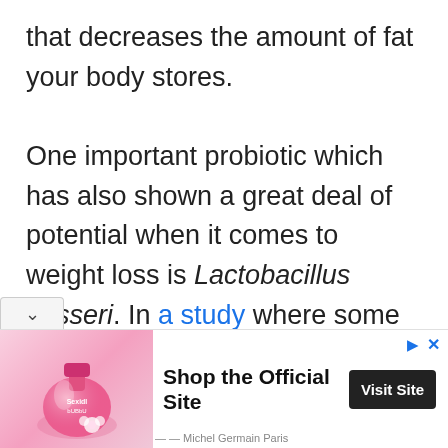that decreases the amount of fat your body stores.

One important probiotic which has also shown a great deal of potential when it comes to weight loss is Lactobacillus gasseri. In a study where some participants accepted to take this probiotic, it was recorded that there was about 8.5% reduction in the amount of lly fat of this participants.
[Figure (other): Advertisement banner: Michel Germain Paris perfume bottle image on the left, 'Shop the Official Site' text in the center, and a 'Visit Site' dark button on the right.]